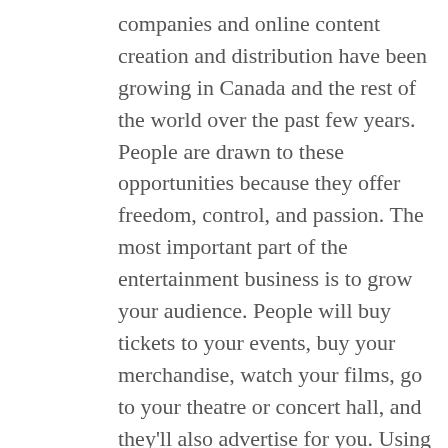companies and online content creation and distribution have been growing in Canada and the rest of the world over the past few years. People are drawn to these opportunities because they offer freedom, control, and passion. The most important part of the entertainment business is to grow your audience. People will buy tickets to your events, buy your merchandise, watch your films, go to your theatre or concert hall, and they'll also advertise for you. Using the internet has shown people how easy it is to market yourself. To help you with this process here are some tips for marketing in Canada.